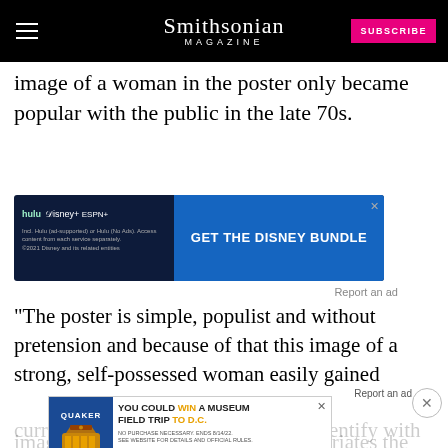Smithsonian MAGAZINE
image of a woman in the poster only became popular with the public in the late 70s.
[Figure (screenshot): Disney Bundle advertisement: hulu, Disney+, ESPN+ logos with text 'GET THE DISNEY BUNDLE'. Incl. Hulu (ad-supported) or Hulu (No Ads). Access content from each service separately. ©2021 Disney and its related entities]
Report an ad
"The poster is simple, populist and without pretension and because of that this image of a strong, self-possessed woman easily gained currency with those who wished to identify with wom... image is certainly striking and appropriates the
[Figure (screenshot): Quaker Museum Day advertisement: YOU COULD WIN A MUSEUM FIELD TRIP TO D.C. LEARN MORE. NO PURCHASE NECESSARY. ENDS 8/14/22. SEE WEBSITE FOR DETAILS AND OFFICIAL RULES. ©2021 TIDC]